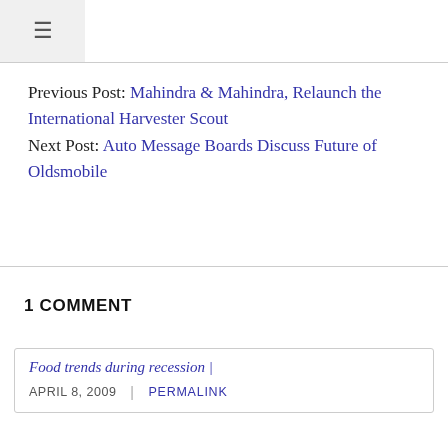≡
Previous Post: Mahindra & Mahindra, Relaunch the International Harvester Scout
Next Post: Auto Message Boards Discuss Future of Oldsmobile
1 COMMENT
Food trends during recession |
APRIL 8, 2009  |  PERMALINK